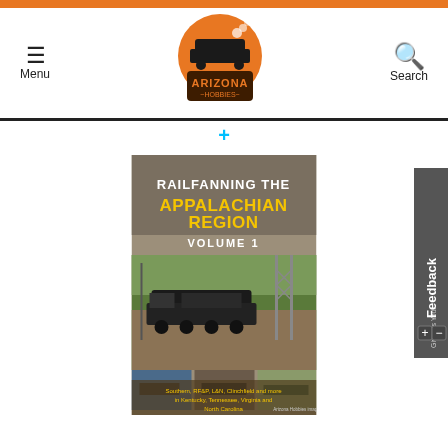[Figure (screenshot): Arizona Hobbies website header with orange top bar, hamburger menu icon and 'Menu' label on the left, Arizona Hobbies logo (train in orange circle) in the center, and magnifying glass icon with 'Search' label on the right]
[Figure (photo): Book cover for 'Railfanning the Appalachian Region Volume 1' showing trains in the Appalachian region. Text reads: 'RAILFANNING THE APPALACHIAN REGION VOLUME 1' with subtitle 'Southern, RF&P, L&N, Clinchfield and more in Kentucky, Tennessee, Virginia and North Carolina. Arizona Hobbies image']
[Figure (other): Give Us Your Feedback tab on the right side of the page with plus and minus controls]